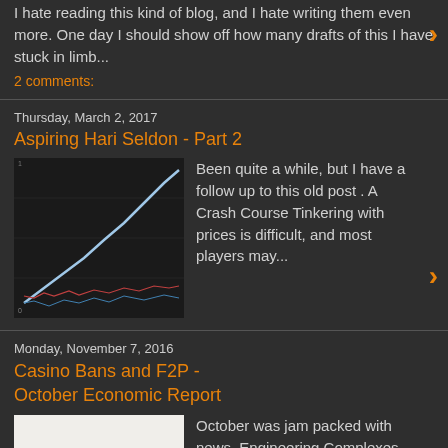I hate reading this kind of blog, and I hate writing them even more. One day I should show off how many drafts of this I have stuck in limb...
2 comments:
Thursday, March 2, 2017
Aspiring Hari Seldon - Part 2
[Figure (screenshot): Dark background chart showing price or market data lines, including a prominent white/blue diagonal line trending upward and smaller red/blue lines below]
Been quite a while, but I have a follow up to this old post . A Crash Course Tinkering with prices is difficult, and most players may...
Monday, November 7, 2016
Casino Bans and F2P - October Economic Report
[Figure (screenshot): Light/white background chart showing a spiky red line data plot, market or price data visualization]
October was jam packed with news. Engineering Complexes , NPE Update , Command Boosts , and EULA changes . The stage is set for Ascension...
4 comments: